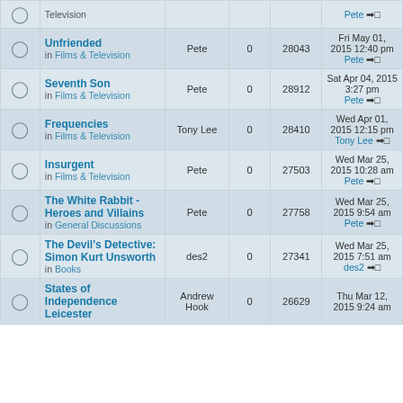|  | Topic | Author | Replies | Views | Last post |
| --- | --- | --- | --- | --- | --- |
| [bell] | Television (partial top) | Pete | 0 |  | Pete →□ |
| [bell] | Unfriended
in Films & Television | Pete | 0 | 28043 | Fri May 01, 2015 12:40 pm
Pete →□ |
| [bell] | Seventh Son
in Films & Television | Pete | 0 | 28912 | Sat Apr 04, 2015 3:27 pm
Pete →□ |
| [bell] | Frequencies
in Films & Television | Tony Lee | 0 | 28410 | Wed Apr 01, 2015 12:15 pm
Tony Lee →□ |
| [bell] | Insurgent
in Films & Television | Pete | 0 | 27503 | Wed Mar 25, 2015 10:28 am
Pete →□ |
| [bell] | The White Rabbit - Heroes and Villains
in General Discussions | Pete | 0 | 27758 | Wed Mar 25, 2015 9:54 am
Pete →□ |
| [bell] | The Devil's Detective: Simon Kurt Unsworth
in Books | des2 | 0 | 27341 | Wed Mar 25, 2015 7:51 am
des2 →□ |
| [bell] | States of Independence Leicester (partial) | Andrew Hook | 0 | 26629 | Thu Mar 12, 2015 9:24 am |